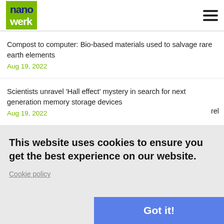[Figure (logo): Nanowerk logo — green box with 'nano' in dark blue and 'werk' in white text]
Compost to computer: Bio-based materials used to salvage rare earth elements
Aug 19, 2022
Scientists unravel 'Hall effect' mystery in search for next generation memory storage devices
Aug 19, 2022
Building blocks of the future for photovoltaics
This website uses cookies to ensure you get the best experience on our website.
Cookie policy
Got it!
Aug 19, 2022